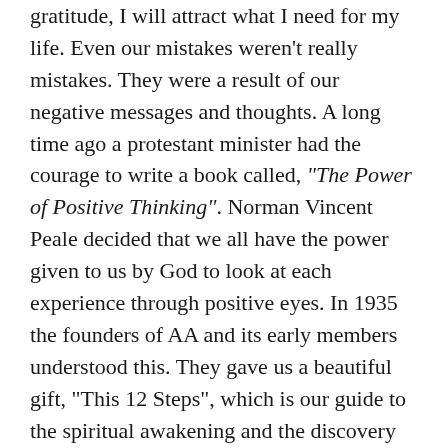gratitude, I will attract what I need for my life. Even our mistakes weren't really mistakes. They were a result of our negative messages and thoughts. A long time ago a protestant minister had the courage to write a book called, "The Power of Positive Thinking". Norman Vincent Peale decided that we all have the power given to us by God to look at each experience through positive eyes. In 1935 the founders of AA and its early members understood this. They gave us a beautiful gift, "This 12 Steps", which is our guide to the spiritual awakening and the discovery of the beauty and strength that we all possess. Each one of us is a miracle in progress. Each day we need to say, "thank you" to yesterday for all its many lessons and be open to the new lessons of today. As you